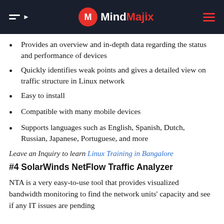MindMajix
Provides an overview and in-depth data regarding the status and performance of devices
Quickly identifies weak points and gives a detailed view on traffic structure in Linux network
Easy to install
Compatible with many mobile devices
Supports languages such as English, Spanish, Dutch, Russian, Japanese, Portuguese, and more
Leave an Inquiry to learn Linux Training in Bangalore
#4 SolarWinds NetFlow Traffic Analyzer
NTA is a very easy-to-use tool that provides visualized bandwidth monitoring to find the network units' capacity and see if any IT issues are pending